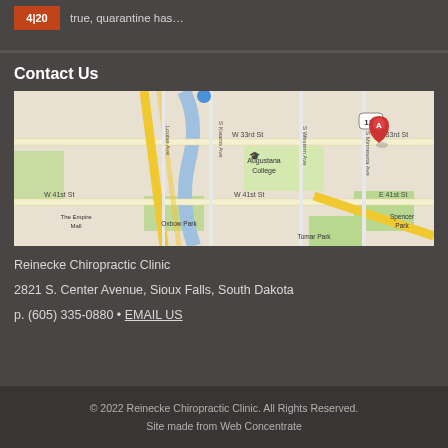4|20  true, quarantine has…
Contact Us
[Figure (map): Google map showing location near Augustana College, Sioux Falls, South Dakota. Streets visible: W 33rd St, E 33rd St, W 41st St, E 41st St, S Kwanis Ave, S Western Ave, S Minnesota Ave, Louise Ave. Landmarks: Augustana College, Oxbow Park, The Empire Mall, Tomar Park, Spencer Park. Route marker 115 shown. Red marker A at clinic location.]
Reinecke Chiropractic Clinic
2821 S. Center Avenue, Sioux Falls, South Dakota
p. (605) 335-0880 • EMAIL US
© 2022 Reinecke Chiropractic Clinic. All Rights Reserved.
Site made from Web Concentrate